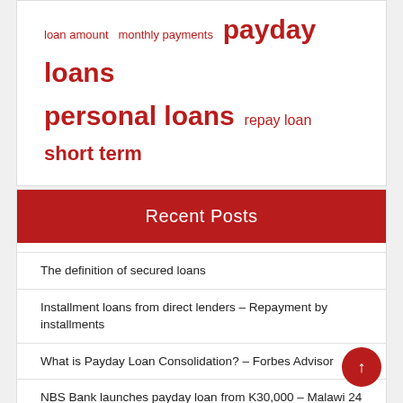loan amount  monthly payments  payday loans  personal loans  repay loan  short term
Recent Posts
The definition of secured loans
Installment loans from direct lenders – Repayment by installments
What is Payday Loan Consolidation? – Forbes Advisor
NBS Bank launches payday loan from K30,000 – Malawi 24
Bank Australia to ditch fossil fuel auto loans in favor of electric vehicle future | Electric vehicles